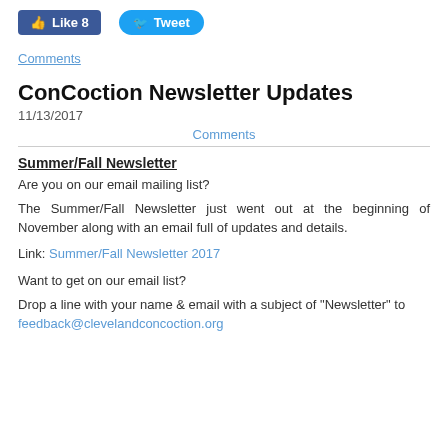[Figure (other): Facebook Like button (blue rectangle) showing 'Like 8' and Twitter Tweet button (blue rounded rectangle) showing 'Tweet']
Comments
ConCoction Newsletter Updates
11/13/2017
Comments
Summer/Fall Newsletter
Are you on our email mailing list?
The Summer/Fall Newsletter just went out at the beginning of November along with an email full of updates and details.
Link: Summer/Fall Newsletter 2017
Want to get on our email list?
Drop a line with your name & email with a subject of "Newsletter" to feedback@clevelandconcoction.org